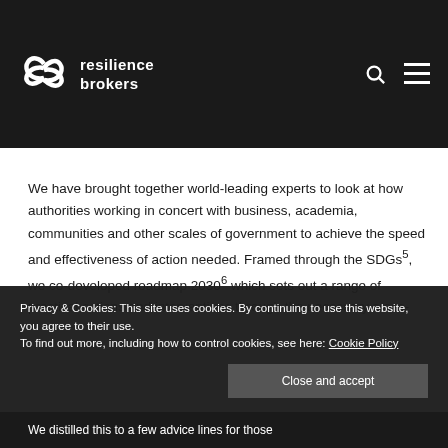[Figure (logo): Resilience Brokers logo with infinity-style icon and text 'resilience brokers' on dark background header, with search and menu icons on the right]
We have brought together world-leading experts to look at how authorities working in concert with business, academia, communities and other scales of government to achieve the speed and effectiveness of action needed. Framed through the SDGs⁵, we co-developed roadmap 2030⁶ which sets out a range of practical actions and interventions through the necessary cross-
Privacy & Cookies: This site uses cookies. By continuing to use this website, you agree to their use.
To find out more, including how to control cookies, see here: Cookie Policy
Close and accept
We distilled this to a few advice lines for those